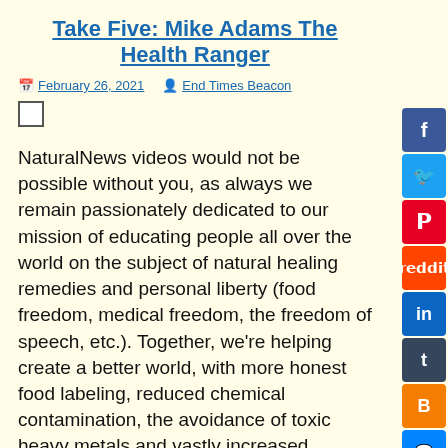Take Five: Mike Adams The Health Ranger
February 26, 2021   End Times Beacon
[Figure (other): Empty checkbox input element]
NaturalNews videos would not be possible without you, as always we remain passionately dedicated to our mission of educating people all over the world on the subject of natural healing remedies and personal liberty (food freedom, medical freedom, the freedom of speech, etc.). Together, we're helping create a better world, with more honest food labeling, reduced chemical contamination, the avoidance of toxic heavy metals and vastly increased scientific transparency.
Select Language
▶ Every dollar you spend at the Health Ranger